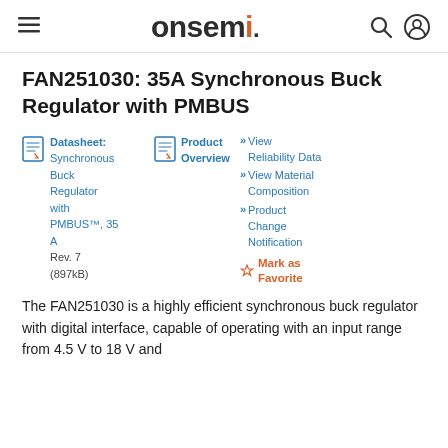onsemi
FAN251030: 35A Synchronous Buck Regulator with PMBUS
Datasheet: Synchronous Buck Regulator with PMBUS™, 35 A Rev. 7 (897kB)
Product Overview
View Reliability Data
View Material Composition
Product Change Notification
Mark as Favorite
The FAN251030 is a highly efficient synchronous buck regulator with digital interface, capable of operating with an input range from 4.5 V to 18 V and